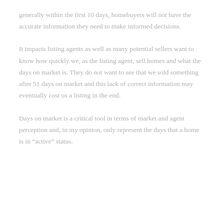generally within the first 10 days, homebuyers will not have the accurate information they need to make informed decisions.
It impacts listing agents as well as many potential sellers want to know how quickly we, as the listing agent, sell homes and what the days on market is. They do not want to see that we sold something after 51 days on market and this lack of correct information may eventually cost us a listing in the end.
Days on market is a critical tool in terms of market and agent perception and, in my opinion, only represent the days that a home is in “active” status.